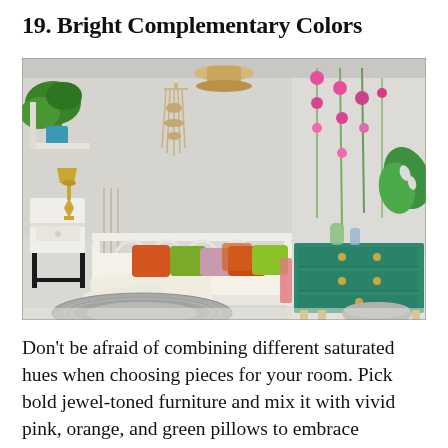19. Bright Complementary Colors
[Figure (photo): A bright, colorful bedroom interior featuring a white metal daybed with orange, green, and pink pillows, a white bedside table with a gold lamp, a teal/green dresser with gold hardware on the right side, a macrame wall hanging, a large plant in a blue pot, and floral stems arranged on the wall. A woven round rug is on the floor.]
Don't be afraid of combining different saturated hues when choosing pieces for your room. Pick bold jewel-toned furniture and mix it with vivid pink, orange, and green pillows to embrace